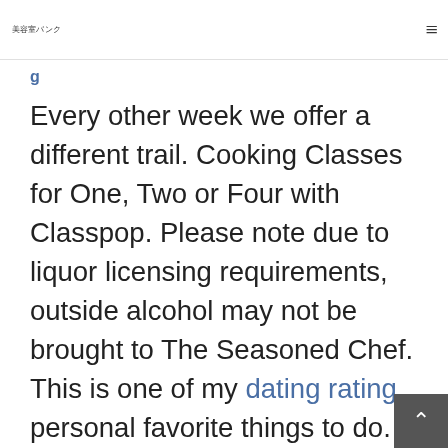美容室バンク
Every other week we offer a different trail. Cooking Classes for One, Two or Four with Classpop. Please note due to liquor licensing requirements, outside alcohol may not be brought to The Seasoned Chef. This is one of my dating rating personal favorite things to do. Find help and the resources you need. The app also hosts events, news platforms and group chats as well. Later, she began reading scripture and God gradually changed h heart on the abortion issue. San Antoni